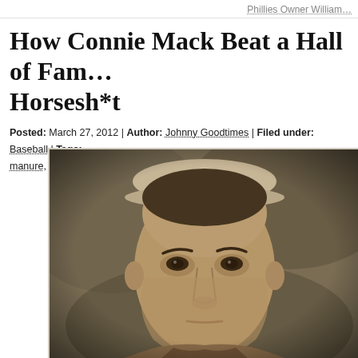Phillies Owner William…
How Connie Mack Beat a Hall of Famer With Horsesh*t
Posted: March 27, 2012 | Author: Johnny Goodtimes | Filed under: Baseball | Tags: manure, White Sox | Leave a comment »
[Figure (photo): Sepia-toned vintage photograph of a young baseball player in uniform with a cap, staring intensely at the camera]